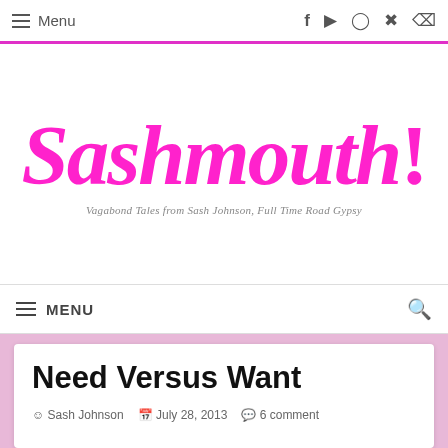≡ Menu  f ▶ ⬤ ⊕ ʃ
Sashmouth!
Vagabond Tales from Sash Johnson, Full Time Road Gypsy
≡ MENU 🔍
Need Versus Want
Sash Johnson   July 28, 2013   6 comment